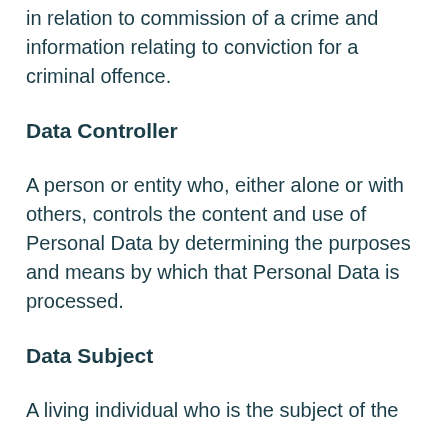in relation to commission of a crime and information relating to conviction for a criminal offence.
Data Controller
A person or entity who, either alone or with others, controls the content and use of Personal Data by determining the purposes and means by which that Personal Data is processed.
Data Subject
A living individual who is the subject of the